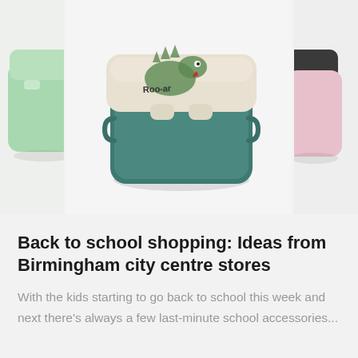[Figure (photo): Three lunch boxes / food containers shown side by side. Left: a small mint/light green container, partially cropped. Center: a teal/dark green square lunch box with a cream-colored lid featuring a cartoon dinosaur design. Right: a pink container with a dark grey/black lid, partially cropped.]
Back to school shopping: Ideas from Birmingham city centre stores
With the kids starting to go back to school this week and next there's always a few last-minute school accessories...